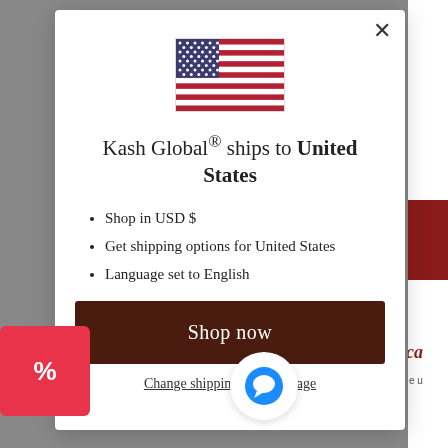[Figure (illustration): US flag SVG illustration]
Kash Global® ships to United States
Shop in USD $
Get shipping options for United States
Language set to English
Shop now
Change shipping and language